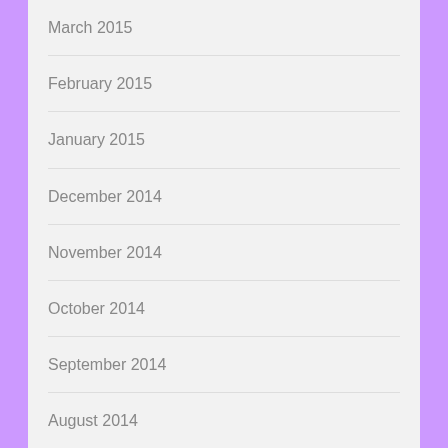March 2015
February 2015
January 2015
December 2014
November 2014
October 2014
September 2014
August 2014
July 2014